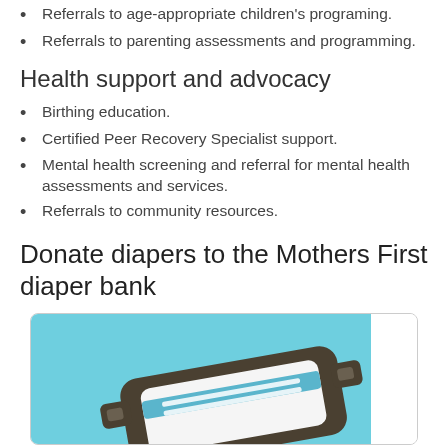Referrals to age-appropriate children's programing.
Referrals to parenting assessments and programming.
Health support and advocacy
Birthing education.
Certified Peer Recovery Specialist support.
Mental health screening and referral for mental health assessments and services.
Referrals to community resources.
Donate diapers to the Mothers First diaper bank
[Figure (illustration): Illustration of a diaper on a light blue background inside a rounded rectangle border]